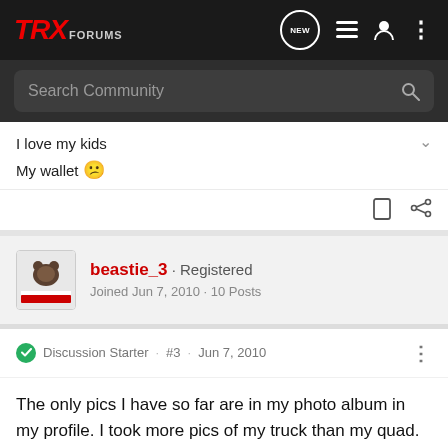TRX FORUMS
Search Community
I love my kids
My wallet 😕
beastie_3 · Registered
Joined Jun 7, 2010 · 10 Posts
Discussion Starter · #3 · Jun 7, 2010
The only pics I have so far are in my photo album in my profile. I took more pics of my truck than my quad.